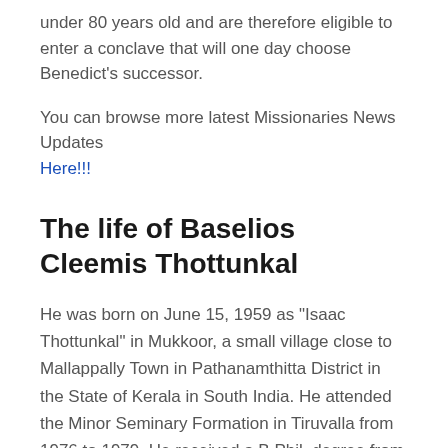under 80 years old and are therefore eligible to enter a conclave that will one day choose Benedict's successor.
You can browse more latest Missionaries News Updates Here!!!
The life of Baselios Cleemis Thottunkal
He was born on June 15, 1959 as "Isaac Thottunkal" in Mukkoor, a small village close to Mallappally Town in Pathanamthitta District in the State of Kerala in South India. He attended the Minor Seminary Formation in Tiruvalla from 1976 to 1979. He received a B.Phil. degree from St. Joseph's Pontifical Institute, Mangalapuzha, Aluva where he attended from 1979 to 1982. He received a B.Th. degree from the Papal Seminary, Pune where he attended from 1983 to 1986. Thottunkal was ordained a priest on June 11, 1986. He studied for the Master of Theology in Dharmaram College, Bangalore